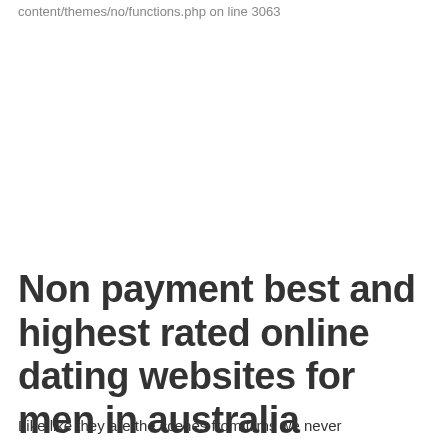content/themes/no/functions.php on line 3063
Non payment best and highest rated online dating websites for men in australia
Like like they are the scenes from films we never